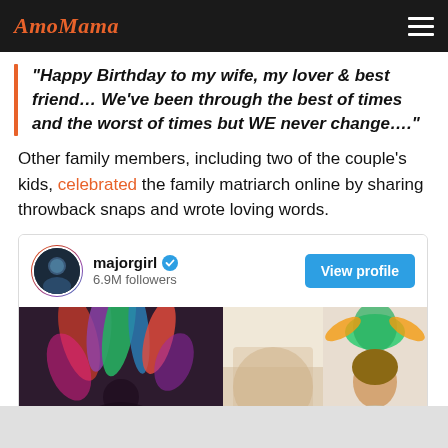AmoMama
"Happy Birthday to my wife, my lover & best friend… We've been through the best of times and the worst of times but WE never change...."
Other family members, including two of the couple's kids, celebrated the family matriarch online by sharing throwback snaps and wrote loving words.
[Figure (screenshot): Instagram embed card showing majorgirl account with 6.9M followers, View profile button, and a photo thumbnail showing two people with colorful headpieces/decorations]